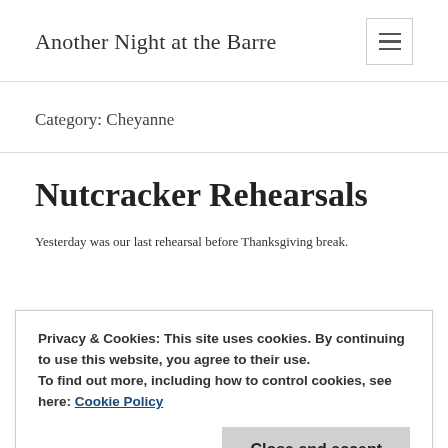Another Night at the Barre
Category: Cheyanne
Nutcracker Rehearsals
Yesterday was our last rehearsal before Thanksgiving break.
Privacy & Cookies: This site uses cookies. By continuing to use this website, you agree to their use.
To find out more, including how to control cookies, see here: Cookie Policy
the other dancer I needed to try them on with got there early, so we were